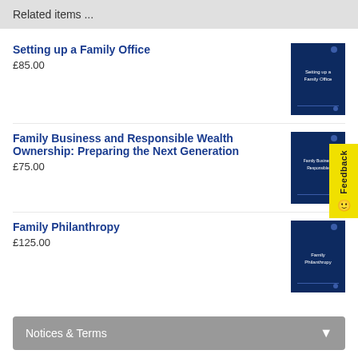Related items ...
Setting up a Family Office
£85.00
Family Business and Responsible Wealth Ownership: Preparing the Next Generation
£75.00
Family Philanthropy
£125.00
Notices & Terms